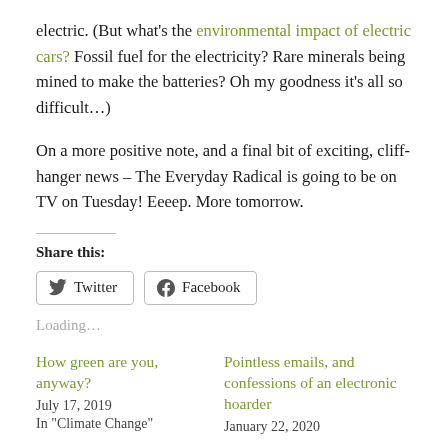electric. (But what's the environmental impact of electric cars? Fossil fuel for the electricity? Rare minerals being mined to make the batteries? Oh my goodness it's all so difficult...)
On a more positive note, and a final bit of exciting, cliff-hanger news – The Everyday Radical is going to be on TV on Tuesday! Eeeep. More tomorrow.
Share this:
Loading...
How green are you, anyway?
July 17, 2019
In "Climate Change"
Pointless emails, and confessions of an electronic hoarder
January 22, 2020